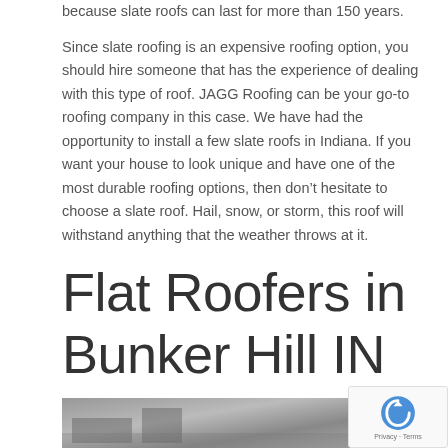because slate roofs can last for more than 150 years.
Since slate roofing is an expensive roofing option, you should hire someone that has the experience of dealing with this type of roof. JAGG Roofing can be your go-to roofing company in this case. We have had the opportunity to install a few slate roofs in Indiana. If you want your house to look unique and have one of the most durable roofing options, then don’t hesitate to choose a slate roof. Hail, snow, or storm, this roof will withstand anything that the weather throws at it.
Flat Roofers in Bunker Hill IN
[Figure (photo): Photo of a flat roof on a building with trees and sky in the background]
A flat... oftentimes